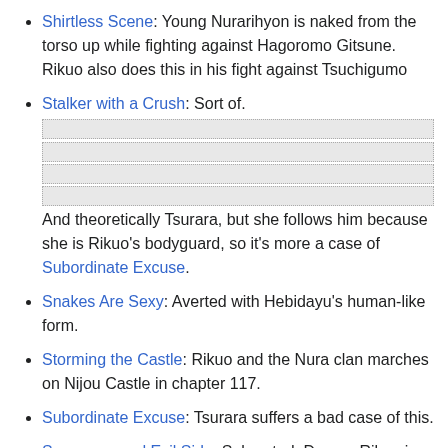Shirtless Scene: Young Nurarihyon is naked from the torso up while fighting against Hagoromo Gitsune. Rikuo also does this in his fight against Tsuchigumo
Stalker with a Crush: Sort of. [spoiler content] And theoretically Tsurara, but she follows him because she is Rikuo's bodyguard, so it's more a case of Subordinate Excuse.
Snakes Are Sexy: Averted with Hebidayu's human-like form.
Storming the Castle: Rikuo and the Nura clan marches on Nijou Castle in chapter 117.
Subordinate Excuse: Tsurara suffers a bad case of this.
Superpowered Evil Side: Subverted. Demon Rikuo is simply a bit more Hot-Blooded and more mature than Human Rikuo.